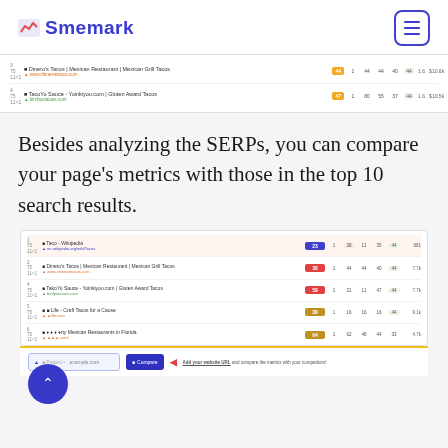Smemark
[Figure (screenshot): Partial screenshot of a SERP analysis table showing 2 rows with metrics columns including scores and numeric values for two restaurant/taco websites.]
Besides analyzing the SERPs, you can compare your page's metrics with those in the top 10 search results.
[Figure (screenshot): Screenshot of Smemark SERP comparison tool showing top 5 rows of search results for taco-related queries, with columns for score, metrics, and comparison values. A compare bar at the bottom allows entering a URL to compare metrics.]